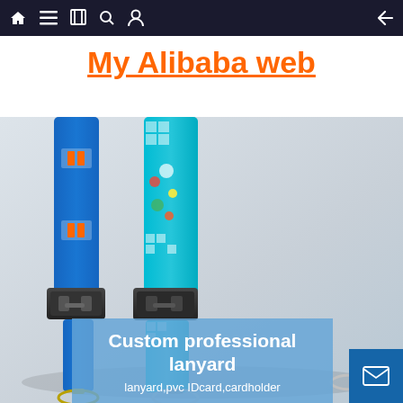Navigation bar with home, menu, card, search, profile icons and back arrow
My Alibaba web
[Figure (photo): Two custom printed lanyards — one solid blue with logo print, one bright teal with colorful character pattern — both with black quick-release buckle clips, hanging on a light grey background.]
Custom professional lanyard
lanyard,pvc IDcard,cardholder